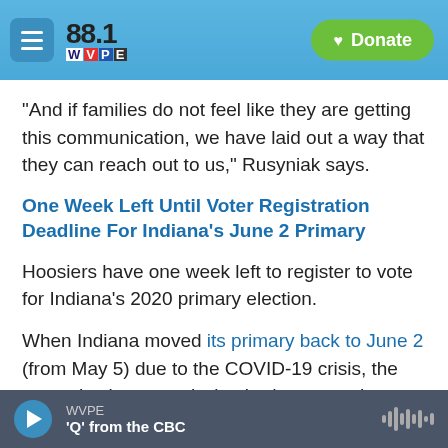88.1 WVPE — Donate
“And if families do not feel like they are getting this communication, we have laid out a way that they can reach out to us,” Rusyniak says.
One Week Left Until Voter Registration Deadline For Indiana's June 2 Primary
Hoosiers have one week left to register to vote for Indiana’s 2020 primary election.
When Indiana moved its primary back to June 2 (from May 5) due to the COVID-19 crisis, the state election commission had to move the rest of its
WVPE — 'Q' from the CBC